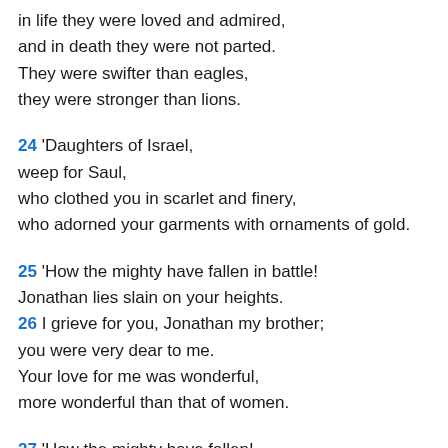in life they were loved and admired,
and in death they were not parted.
They were swifter than eagles,
they were stronger than lions.
24 'Daughters of Israel,
weep for Saul,
who clothed you in scarlet and finery,
who adorned your garments with ornaments of gold.
25 'How the mighty have fallen in battle!
Jonathan lies slain on your heights.
26 I grieve for you, Jonathan my brother;
you were very dear to me.
Your love for me was wonderful,
more wonderful than that of women.
27 'How the mighty have fallen!
The weapons of war have perished!'